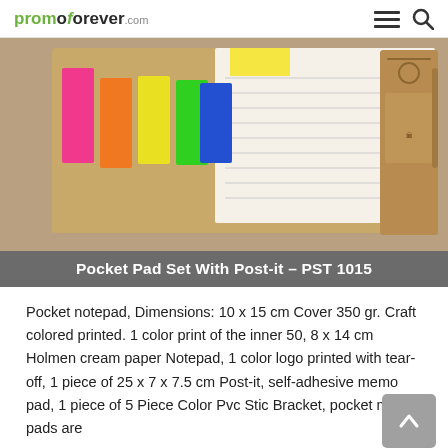promoforever.com
[Figure (photo): Open pocket notepad set showing colorful sticky tabs (pink, orange, yellow, green, blue) on the left panel and a lined notepad on the right, with a kraft cover visible on the right side showing a printed illustration.]
Pocket Pad Set With Post-it – PST 1015
Pocket notepad, Dimensions: 10 x 15 cm Cover 350 gr. Craft colored printed. 1 color print of the inner 50, 8 x 14 cm Holmen cream paper Notepad, 1 color logo printed with tear-off, 1 piece of 25 x 7 x 7.5 cm Post-it, self-adhesive memo pad, 1 piece of 5 Piece Color Pvc Stic Bracket, pocket memo pads are